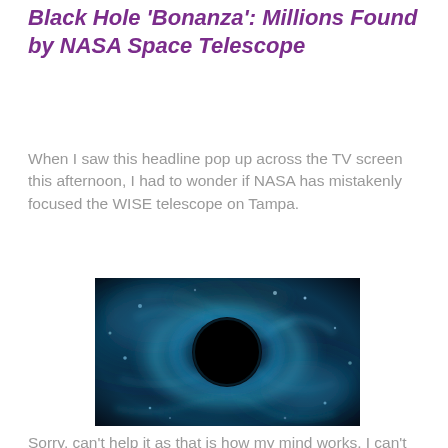Black Hole 'Bonanza': Millions Found by NASA Space Telescope
When I saw this headline pop up across the TV screen this afternoon, I had to wonder if NASA has mistakenly focused the WISE telescope on Tampa.
[Figure (photo): Artistic rendering of a black hole — a dark central void surrounded by swirling blue nebular gas and dust on a dark background.]
Sorry, can't help it as that is how my mind works.  I can't